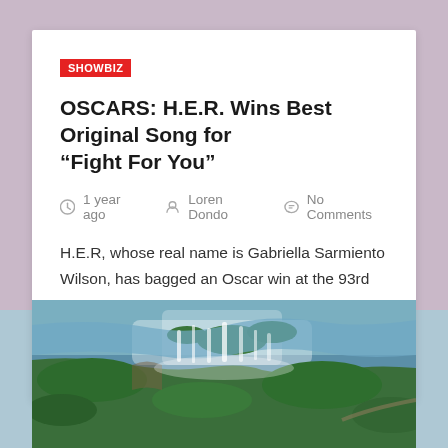SHOWBIZ
OSCARS: H.E.R. Wins Best Original Song for “Fight For You”
1 year ago   Loren Dondo   No Comments
H.E.R, whose real name is Gabriella Sarmiento Wilson, has bagged an Oscar win at the 93rd Academy Awards. During her acceptance speech, the singer was quick to thank her collaborators on…
[Figure (photo): Aerial photograph of Victoria Falls waterfall with surrounding lush green landscape and river]